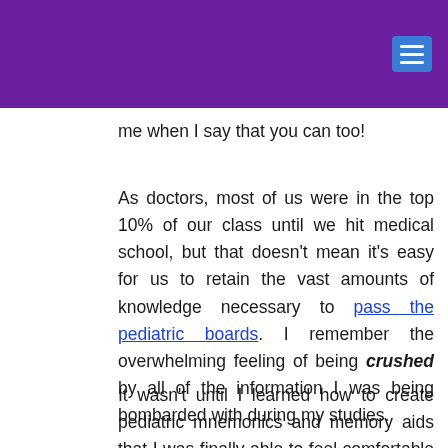me when I say that you can too!
As doctors, most of us were in the top 10% of our class until we hit medical school, but that doesn't mean it's easy for us to retain the vast amounts of knowledge necessary to pass the pediatric boards. I remember the overwhelming feeling of being crushed by all of the information I was being bombarded with during my studies.
It wasn't until I learned how to create pediatric mnemonics and memory aids that I was finally able to feel comfortable with the idea of housing all of that